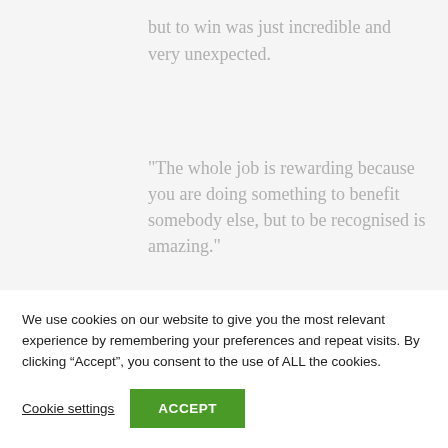but to win was just incredible and very unexpected.
"The whole job is rewarding because you are doing something to benefit somebody else, but to be recognised is amazing."
Alan Whittington, volunteer
We use cookies on our website to give you the most relevant experience by remembering your preferences and repeat visits. By clicking “Accept”, you consent to the use of ALL the cookies.